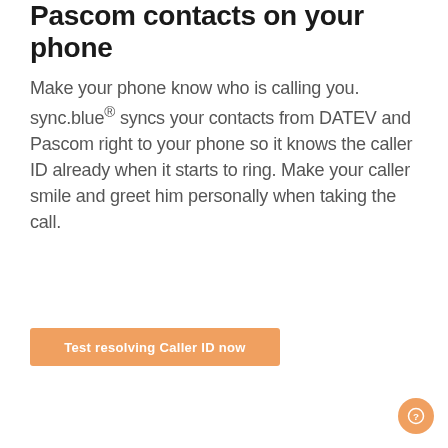Pascom contacts on your phone
Make your phone know who is calling you. sync.blue® syncs your contacts from DATEV and Pascom right to your phone so it knows the caller ID already when it starts to ring. Make your caller smile and greet him personally when taking the call.
Test resolving Caller ID now